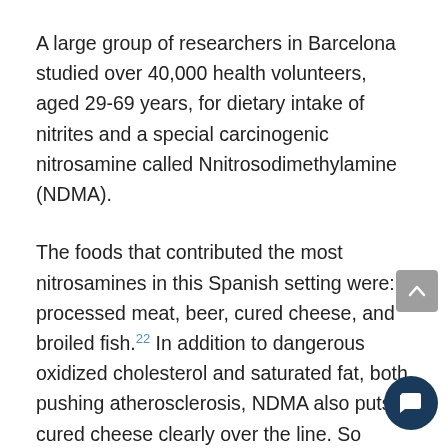A large group of researchers in Barcelona studied over 40,000 health volunteers, aged 29-69 years, for dietary intake of nitrites and a special carcinogenic nitrosamine called Nnitrosodimethylamine (NDMA).
The foods that contributed the most nitrosamines in this Spanish setting were: processed meat, beer, cured cheese, and broiled fish.[22] In addition to dangerous oxidized cholesterol and saturated fat, both pushing atherosclerosis, NDMA also puts cured cheese clearly over the line. So much for second-hand animal foods. For cutting-